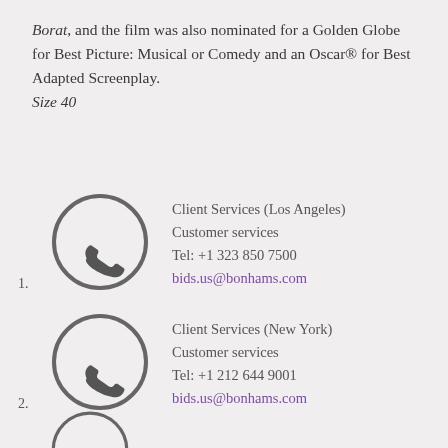Borat, and the film was also nominated for a Golden Globe for Best Picture: Musical or Comedy and an Oscar® for Best Adapted Screenplay.
Size 40
Client Services (Los Angeles)
Customer services
Tel: +1 323 850 7500
bids.us@bonhams.com
Client Services (New York)
Customer services
Tel: +1 212 644 9001
bids.us@bonhams.com